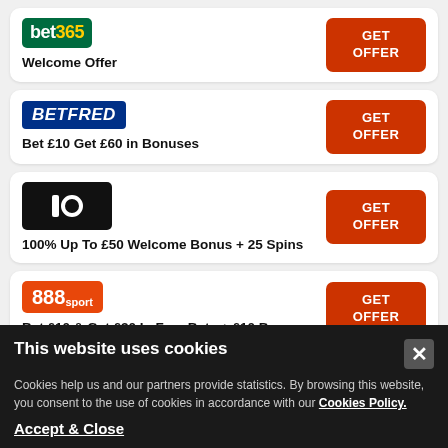[Figure (logo): bet365 logo — green background, white and yellow text]
Welcome Offer
GET OFFER
[Figure (logo): BETFRED logo — dark blue background, white bold italic text]
Bet £10 Get £60 in Bonuses
GET OFFER
[Figure (logo): 10bet logo — black background, white bar and circle symbol]
100% Up To £50 Welcome Bonus + 25 Spins
GET OFFER
[Figure (logo): 888sport logo — orange background, white 888sport text]
Bet £10 & Get £30 In Free Bets + £10 Bonus
GET OFFER
This website uses cookies
Cookies help us and our partners provide statistics. By browsing this website, you consent to the use of cookies in accordance with our Cookies Policy.
Accept & Close